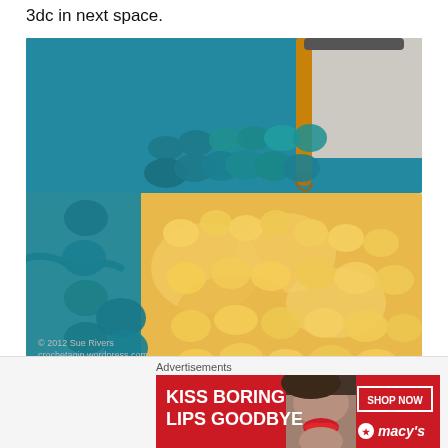3dc in next space.
[Figure (photo): Close-up photo of crochet work in progress: teal/blue yarn forming border stitches along the top and sides of a granny square, with yellow yarn flowers/clusters visible in the center. A gold crochet hook with dark handle is inserted into the work at the top. Watermark reads '© 2012 Sue Rivers crochetagin.wordpress.com']
And continue across, doing 3dc, ch3, 3dc in the corner and 3dc between each to the end.  Dc in the top of the
Advertisements
[Figure (other): Advertisement banner: red background with bold white text 'KISS BORING LIPS GOODBYE', a model photo showing red lips, and on the right a 'SHOP NOW' button and Macy's logo with red star.]